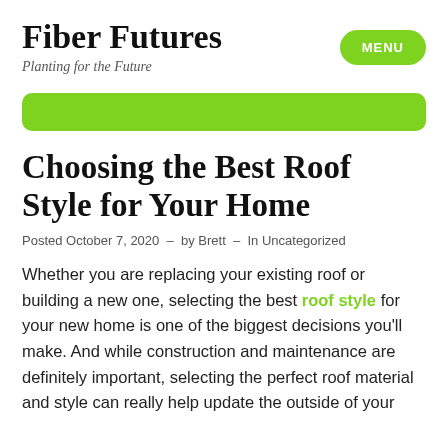Fiber Futures
Planting for the Future
[Figure (other): Green rounded rectangle menu button with text MENU]
[Figure (other): Green horizontal bar decoration]
Choosing the Best Roof Style for Your Home
Posted October 7, 2020 — by Brett — In Uncategorized
Whether you are replacing your existing roof or building a new one, selecting the best roof style for your new home is one of the biggest decisions you'll make. And while construction and maintenance are definitely important, selecting the perfect roof material and style can really help update the outside of your